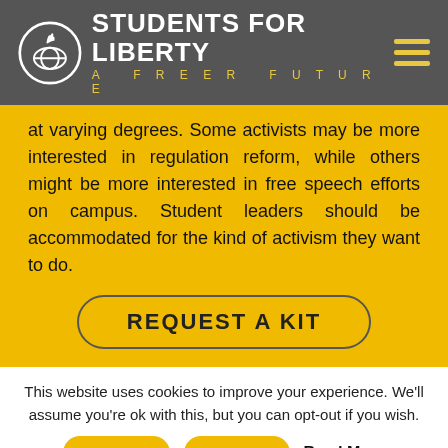STUDENTS FOR LIBERTY — A FREER FUTURE
at varying degrees. Some activists may be more interested in regulation reform, while others might be more interested in free speech efforts on campus. Student leaders should be accommodated for the kind of activism they want to do.
REQUEST A KIT
This website uses cookies to improve your experience. We'll assume you're ok with this, but you can opt-out if you wish.
ACCEPT    REJECT    Read More